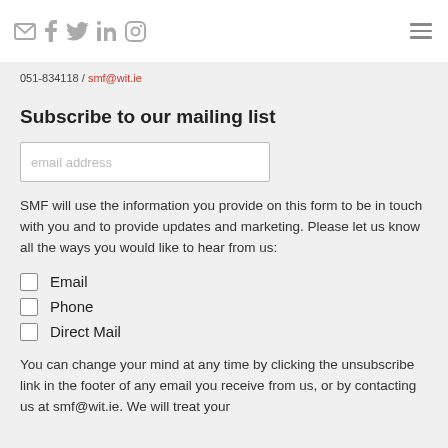Social media icons (email, facebook, twitter, linkedin, instagram) and hamburger menu
051-834118 / smf@wit.ie
Subscribe to our mailing list
email address
SMF will use the information you provide on this form to be in touch with you and to provide updates and marketing. Please let us know all the ways you would like to hear from us:
Email
Phone
Direct Mail
You can change your mind at any time by clicking the unsubscribe link in the footer of any email you receive from us, or by contacting us at smf@wit.ie. We will treat your